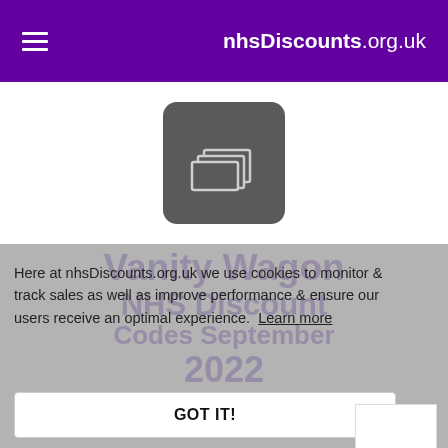nhsDiscounts.org.uk
[Figure (logo): Dark gray rounded square icon with layered rectangle/monitor graphics in white outline]
Vanity Wagon NHS Discount Codes September 2022
Here at nhsDiscounts.org.uk we use cookies to monitor & track sales as well as improve performance & ensure our users receive an optimal experience. Learn more
GOT IT!